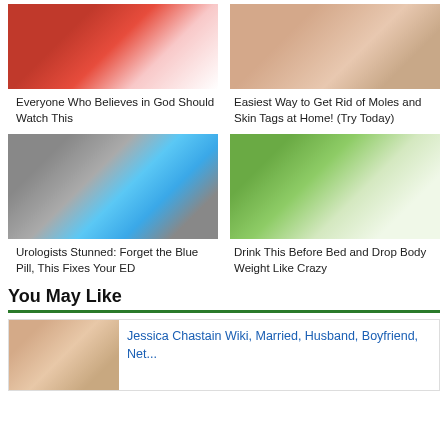[Figure (photo): Rambutan fruit cut open showing white flesh]
Everyone Who Believes in God Should Watch This
[Figure (photo): Close-up of person's face touching a mole or skin tag]
Easiest Way to Get Rid of Moles and Skin Tags at Home! (Try Today)
[Figure (photo): Hand holding a blister pack of blue diamond-shaped pills]
Urologists Stunned: Forget the Blue Pill, This Fixes Your ED
[Figure (photo): Glass jar with lime slices and a green drink]
Drink This Before Bed and Drop Body Weight Like Crazy
You May Like
[Figure (photo): Thumbnail image of Jessica Chastain]
Jessica Chastain Wiki, Married, Husband, Boyfriend, Net...